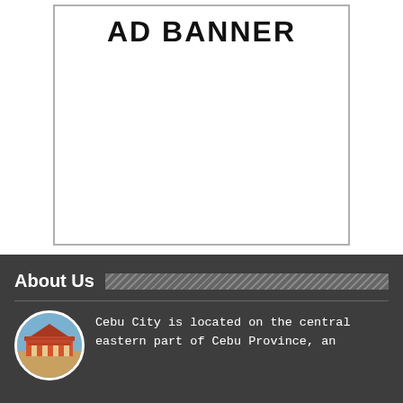[Figure (other): AD BANNER placeholder box with border]
About Us
Cebu City is located on the central eastern part of Cebu Province, an